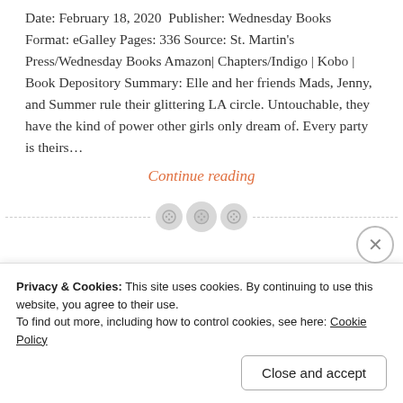Date: February 18, 2020  Publisher: Wednesday Books Format: eGalley Pages: 336 Source: St. Martin's Press/Wednesday Books Amazon| Chapters/Indigo | Kobo | Book Depository Summary: Elle and her friends Mads, Jenny, and Summer rule their glittering LA circle. Untouchable, they have the kind of power other girls only dream of. Every party is theirs…
Continue reading
[Figure (other): Decorative divider with three circular icons between dashed lines]
Privacy & Cookies: This site uses cookies. By continuing to use this website, you agree to their use.
To find out more, including how to control cookies, see here: Cookie Policy
Close and accept